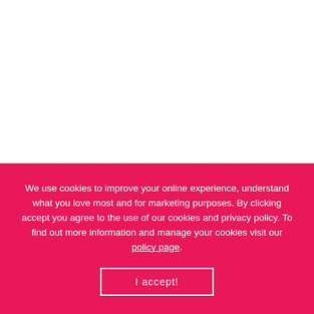13 LOVELY LOCAL VINEYARDS TO VISIT
Sunshine, glorious countryside and home-grown tipples – now that's what we call a Muddy outing! Taste and explore at these brilliant vineyards around Hampshire, Berkshire, Oxfordshire and Kent.
We use cookies to improve your online experience, understand what you love most and for marketing purposes. By clicking accept you agree to the use of our cookies and privacy policy. To find out more information and manage your cookies visit our policy page.
I accept!